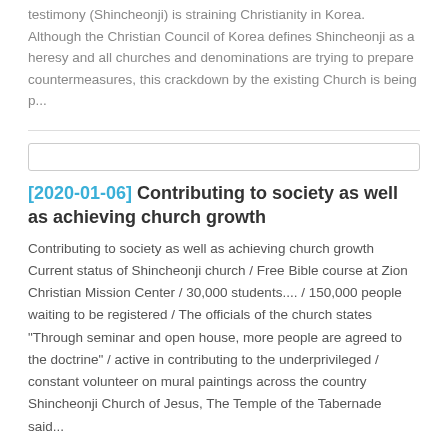testimony (Shincheonji) is straining Christianity in Korea. Although the Christian Council of Korea defines Shincheonji as a heresy and all churches and denominations are trying to prepare countermeasures, this crackdown by the existing Church is being p...
[search box]
[2020-01-06] Contributing to society as well as achieving church growth
Contributing to society as well as achieving church growth Current status of Shincheonji church / Free Bible course at Zion Christian Mission Center / 30,000 students.... / 150,000 people waiting to be registered / The officials of the church states "Through seminar and open house, more people are agreed to the doctrine" / active in contributing to the underprivileged / constant volunteer on mural paintings across the country Shincheonji Church of Jesus, The Temple of the Tabernade said...
[search box]